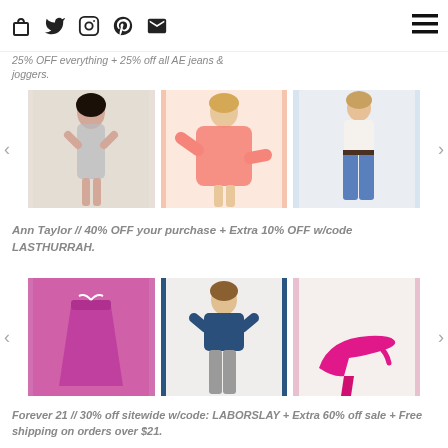Shopping bag, Twitter, Instagram, Pinterest, Email icons; hamburger menu
25% OFF everything + 25% off all AE jeans & joggers.
[Figure (photo): Three fashion product photos in a carousel: woman in floral mini dress, woman in pink cardigan, woman in blue jeans]
Ann Taylor // 40% OFF your purchase + Extra 10% OFF w/code LASTHURRAH.
[Figure (photo): Three fashion product photos in a carousel: magenta/fuchsia A-line skirt, navy blue short-sleeve top, hot pink kitten heel slingback shoe]
Forever 21 // 30% off sitewide w/code: LABORSLAY + Extra 60% off sale + Free shipping on orders over $21.